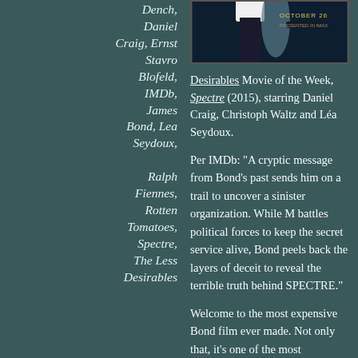Dench, Daniel Craig, Ernst Stavro Blofeld, IMDb, James Bond, Lea Seydoux, Ralph Fiennes, Rotten Tomatoes, Spectre, The Less Desirables
[Figure (photo): Movie poster for SPECTRE (2015), 007 James Bond film, showing a figure in white suit against dark background with SPECTRE logo and OCTOBER 26 release date]
Desirables Movie of the Week, Spectre (2015), starring Daniel Craig, Christoph Waltz and Léa Seydoux.
Per IMDb: “A cryptic message from Bond’s past sends him on a trail to uncover a sinister organization. While M battles political forces to keep the secret service alive, Bond peels back the layers of deceit to reveal the terrible truth behind SPECTRE.”
Welcome to the most expensive Bond film ever made. Not only that, it’s one of the most